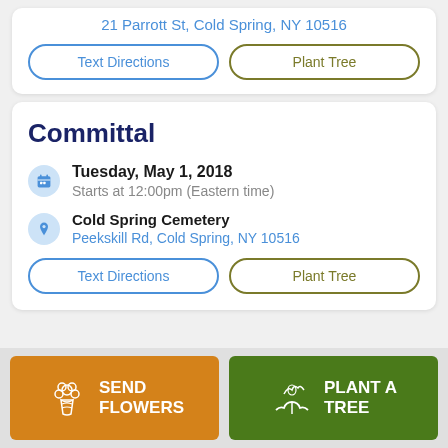21 Parrott St, Cold Spring, NY 10516
Text Directions
Plant Tree
Committal
Tuesday, May 1, 2018
Starts at 12:00pm (Eastern time)
Cold Spring Cemetery
Peekskill Rd, Cold Spring, NY 10516
Text Directions
Plant Tree
SEND FLOWERS
PLANT A TREE